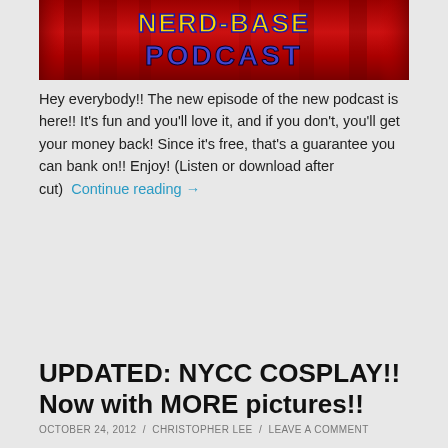[Figure (illustration): Nerd-Base Podcast banner with red curtain background, yellow and blue stylized text reading NERD-BASE PODCAST]
Hey everybody!! The new episode of the new podcast is here!! It's fun and you'll love it, and if you don't, you'll get your money back! Since it's free, that's a guarantee you can bank on!! Enjoy! (Listen or download after cut)  Continue reading →
UPDATED: NYCC COSPLAY!! Now with MORE pictures!!
OCTOBER 24, 2012  /  CHRISTOPHER LEE  /  LEAVE A COMMENT